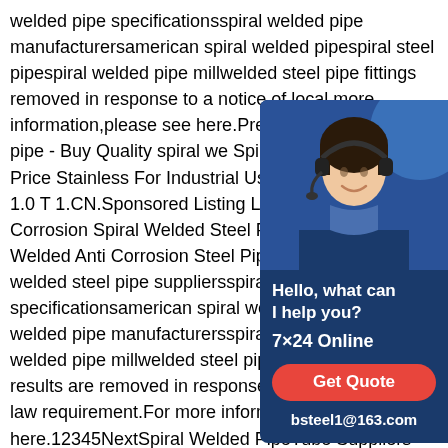welded pipe specificationsspiral welded pipe manufacturersamerican spiral welded pipespiral steel pipespiral welded pipe millwelded steel pipe fittings removed in response to a notice of local more information,please see here.Previous welded steel pipe - Buy Quality spiral we Spiral Pipe Welded Pipe Price Stainless For Industrial Use.$400.00-$450.00 1.0 T 1.CN.Sponsored Listing Large Diameter Corrosion Spiral Welded Steel Pipe.$60.0 Spiral Welded Anti Corrosion Steel Pipspiral pipespiral welded steel pipe suppliersspiral welded pipe specificationsamerican spiral welded pipespiral welded pipe manufacturersspiral steel pipespiral welded pipe millwelded steel pipe specificationsSome results are removed in response to a notice of local law requirement.For more information,please see here.12345NextSpiral Welded PipeTube Suppliers - DT Spiral
[Figure (other): Chat widget showing a customer service representative (woman wearing headset) with dark blue background, greeting text 'Hello, what can I help you?', '7x24 Online', a red 'Get Quote' button, and email address bsteel1@163.com]